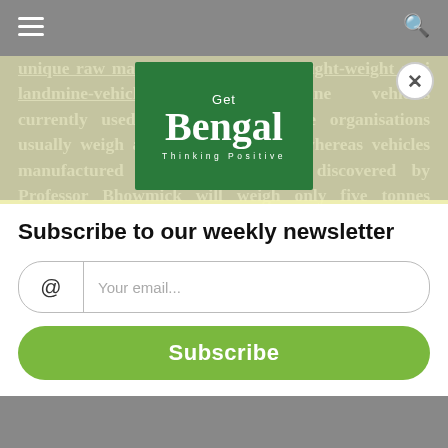[navigation bar with hamburger menu and search icon]
unique raw material to manufacture light-weight anti landmine-vehicles.The anti-landmine vehicles currently used by different defence organisations usually weigh around 10-15 tonnes whereas vehicles manufactured using raw material discovered by Professor Bhowmick will weigh only five tonnes resulting in faster speed and greater mobility, especially in hilly terrains. The new material is also capable of withstanding heat upto 2400 degrees centigrade. Usually, heat generated during a landmine blast measures
[Figure (logo): Get Bengal - Thinking Positive logo on green background]
Subscribe to our weekly newsletter
Your email...
Subscribe